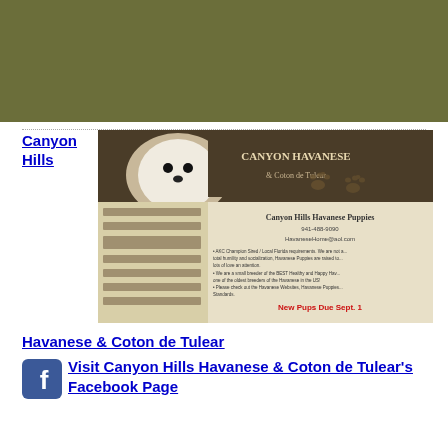[Figure (screenshot): Green/olive colored top banner strip]
Canyon Hills
[Figure (screenshot): Screenshot of Canyon Havanese & Coton de Tulear website showing a white puppy, paw prints, and website content including 'Canyon Hills Havanese Puppies' heading, phone number 941-488-9090, email HavanaseHome@aol.com, bullet points about breeding, and 'New Pups Due Sept. 1' announcement]
Havanese & Coton de Tulear
Visit Canyon Hills Havanese & Coton de Tulear's Facebook Page